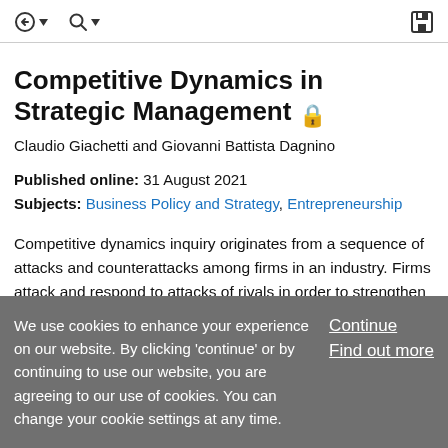navigation icons: back arrow with dropdown, search with dropdown, save/floppy disk icon
Competitive Dynamics in Strategic Management 🔒
Claudio Giachetti and Giovanni Battista Dagnino
Published online: 31 August 2021
Subjects: Business Policy and Strategy, Entrepreneurship
Competitive dynamics inquiry originates from a sequence of attacks and counterattacks among firms in an industry. Firms attack and respond to attacks of rivals in order to strengthen or defend their competitive position within
We use cookies to enhance your experience on our website. By clicking 'continue' or by continuing to use our website, you are agreeing to our use of cookies. You can change your cookie settings at any time.